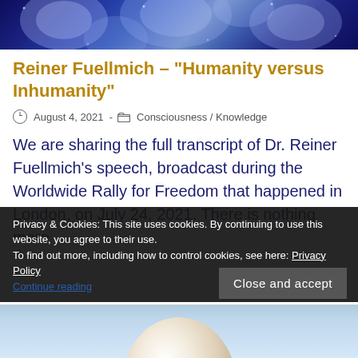[Figure (illustration): Blue cosmic/cellular abstract header image with glowing circular shapes on dark blue background]
Reiner Fuellmich – "Humanity versus Inhumanity"
August 4, 2021  -  Consciousness / Knowledge
We are sharing the full transcript of Dr. Reiner Fuellmich's speech, broadcast during the Worldwide Rally for Freedom that happened in London, on July 24, 2021. There is nothing more
Privacy & Cookies: This site uses cookies. By continuing to use this website, you agree to their use.
To find out more, including how to control cookies, see here: Privacy Policy
[Figure (photo): Partial view of a light blue background with what appears to be the top of a white/cream colored egg or round object]